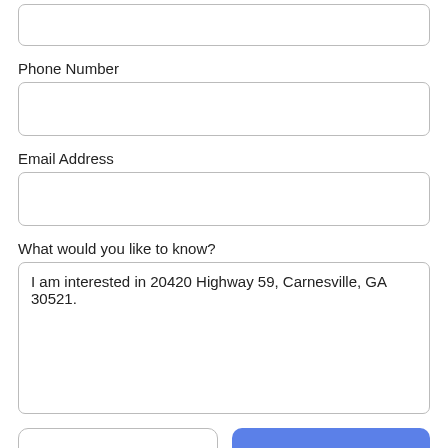Phone Number
Email Address
What would you like to know?
I am interested in 20420 Highway 59, Carnesville, GA 30521.
Take a Tour
Ask A Question